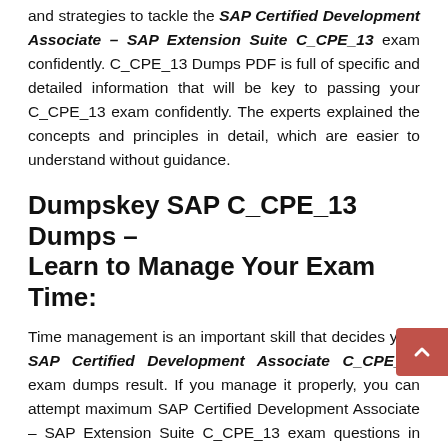and strategies to tackle the SAP Certified Development Associate – SAP Extension Suite C_CPE_13 exam confidently. C_CPE_13 Dumps PDF is full of specific and detailed information that will be key to passing your C_CPE_13 exam confidently. The experts explained the concepts and principles in detail, which are easier to understand without guidance.
Dumpskey SAP C_CPE_13 Dumps – Learn to Manage Your Exam Time:
Time management is an important skill that decides your SAP Certified Development Associate C_CPE_13 exam dumps result. If you manage it properly, you can attempt maximum SAP Certified Development Associate – SAP Extension Suite C_CPE_13 exam questions in less time, which significantly increases the chances of success. DumpsKey SAP Certification Exam helps aspirants calculate how much time each subject will take in the C_CPE_13 exam dumps. Candidates can easily manage their exam time after attempting C_CPE_13 practice exam